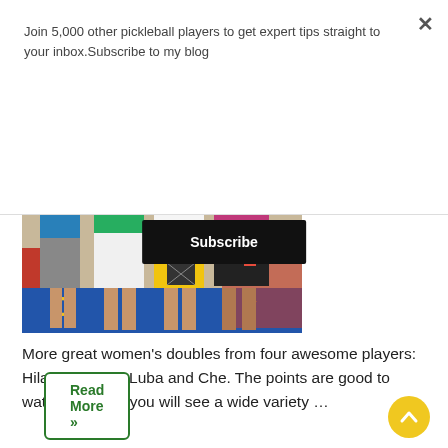Join 5,000 other pickleball players to get expert tips straight to your inbox.Subscribe to my blog
Subscribe
[Figure (photo): Group photo of four women pickleball players from the waist down, wearing colorful athletic skirts and shorts (blue, green, white, yellow, black), standing in front of a blue and gold banner.]
More great women's doubles from four awesome players: Hilary, Yvonne, Luba and Che. The points are good to watch because you will see a wide variety …
Read More »